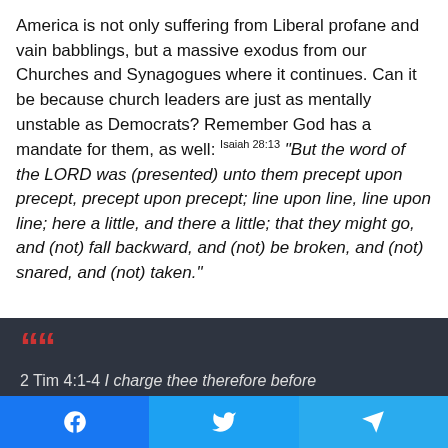America is not only suffering from Liberal profane and vain babblings, but a massive exodus from our Churches and Synagogues where it continues. Can it be because church leaders are just as mentally unstable as Democrats? Remember God has a mandate for them, as well: Isaiah 28:13 "But the word of the LORD was (presented) unto them precept upon precept, precept upon precept; line upon line, line upon line; here a little, and there a little; that they might go, and (not) fall backward, and (not) be broken, and (not) snared, and (not) taken."
[Figure (infographic): Dark gray quote box with large red quotation mark icon followed by biblical reference '2 Tim 4:1-4' and beginning of italic quote text 'I charge thee therefore before']
[Figure (infographic): Social media share bar with three buttons: Facebook (blue), Twitter (blue), Telegram (blue) each with their respective white icons]